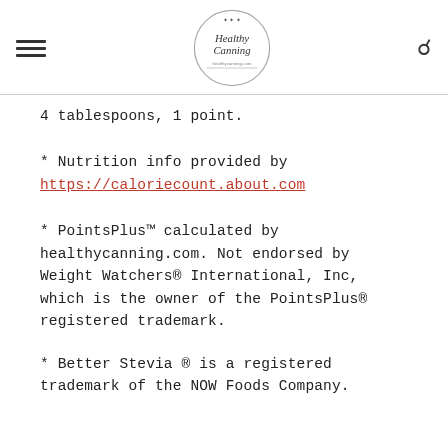Healthy Canning
4 tablespoons, 1 point.
* Nutrition info provided by https://caloriecount.about.com
* PointsPlus™ calculated by healthycanning.com. Not endorsed by Weight Watchers® International, Inc, which is the owner of the PointsPlus® registered trademark.
* Better Stevia ® is a registered trademark of the NOW Foods Company.